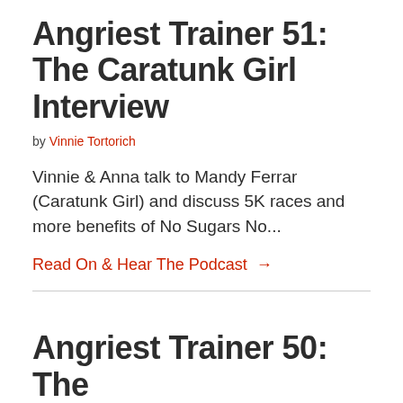Angriest Trainer 51: The Caratunk Girl Interview
by Vinnie Tortorich
Vinnie & Anna talk to Mandy Ferrar (Caratunk Girl) and discuss 5K races and more benefits of No Sugars No...
Read On & Hear The Podcast →
Angriest Trainer 50: The